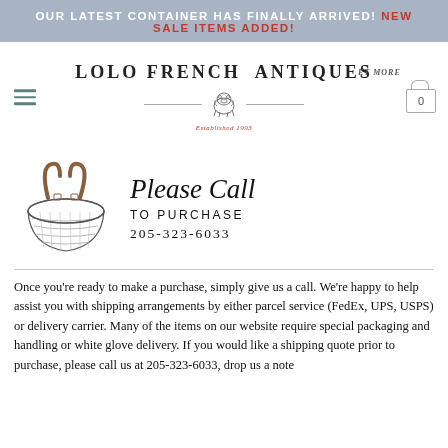OUR LATEST CONTAINER HAS FINALLY ARRIVED! NEW SALE ITEMS ADDED!
[Figure (logo): Lolo French Antiques Et More logo with bulldog illustration, hamburger menu icon, and shopping cart icon]
[Figure (illustration): Hand-drawn wicker basket with leather handles illustration alongside 'Please Call TO PURCHASE 205-323-6033' text]
Once you're ready to make a purchase, simply give us a call. We're happy to help assist you with shipping arrangements by either parcel service (FedEx, UPS, USPS) or delivery carrier. Many of the items on our website require special packaging and handling or white glove delivery. If you would like a shipping quote prior to purchase, please call us at 205-323-6033, drop us a note